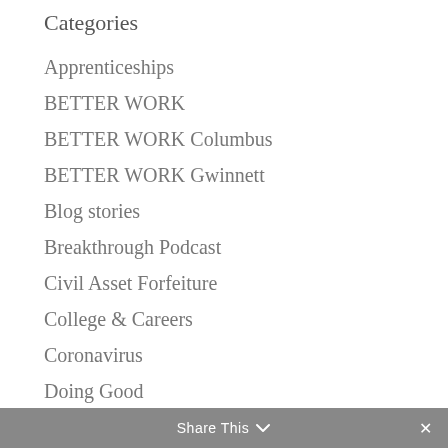Categories
Apprenticeships
BETTER WORK
BETTER WORK Columbus
BETTER WORK Gwinnett
Blog stories
Breakthrough Podcast
Civil Asset Forfeiture
College & Careers
Coronavirus
Doing Good
Economy
Share This ∨  ✕